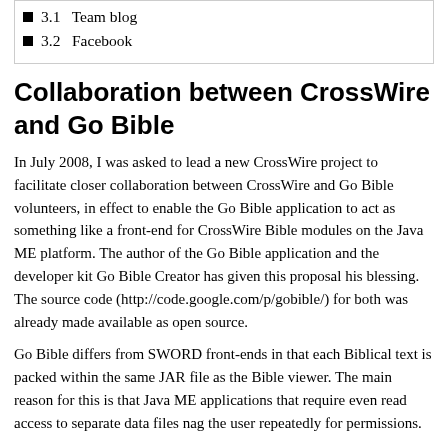3.1  Team blog
3.2  Facebook
Collaboration between CrossWire and Go Bible
In July 2008, I was asked to lead a new CrossWire project to facilitate closer collaboration between CrossWire and Go Bible volunteers, in effect to enable the Go Bible application to act as something like a front-end for CrossWire Bible modules on the Java ME platform. The author of the Go Bible application and the developer kit Go Bible Creator has given this proposal his blessing. The source code (http://code.google.com/p/gobible/) for both was already made available as open source.
Go Bible differs from SWORD front-ends in that each Biblical text is packed within the same JAR file as the Bible viewer. The main reason for this is that Java ME applications that require even read access to separate data files nag the user repeatedly for permissions.
My contacts at Wycliffe Bible Translators (http://www.wycliffe.org/) have indicated that this would be of considerable interest to them, as